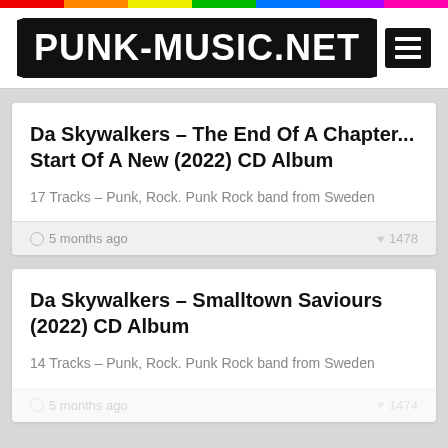PUNK-MUSIC.NET
Da Skywalkers – The End Of A Chapter... Start Of A New (2022) CD Album
17 Tracks – Punk, Rock. Punk Rock band from Sweden
5 months ago   1478
Da Skywalkers – Smalltown Saviours (2022) CD Album
14 Tracks – Punk, Rock. Punk Rock band from Sweden